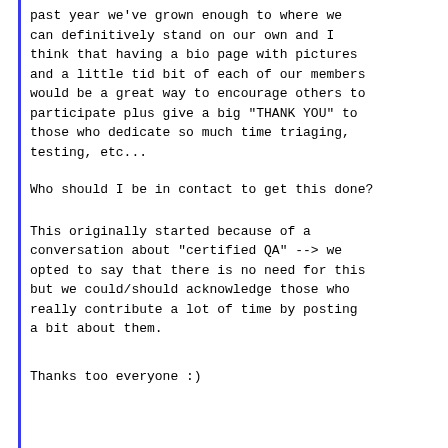past year we've grown enough to where we can definitively stand on our own and I think that having a bio page with pictures and a little tid bit of each of our members would be a great way to encourage others to participate plus give a big "THANK YOU" to those who dedicate so much time triaging, testing, etc...
Who should I be in contact to get this done?
This originally started because of a conversation about "certified QA" --> we opted to say that there is no need for this but we could/should acknowledge those who really contribute a lot of time by posting a bit about them.
Thanks too everyone :)